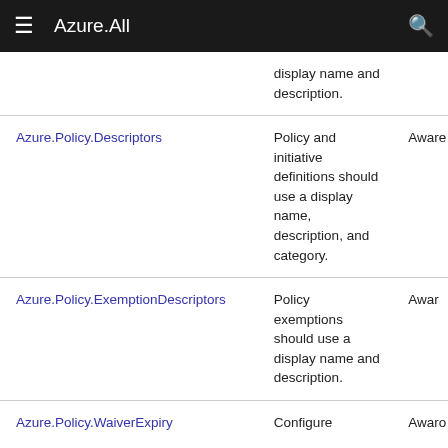Azure.All
| Name | Description | Type |
| --- | --- | --- |
|  | display name and description. |  |
| Azure.Policy.Descriptors | Policy and initiative definitions should use a display name, description, and category. | Aware... |
| Azure.Policy.ExemptionDescriptors | Policy exemptions should use a display name and description. | Aware... |
| Azure.Policy.WaiverExpiry | Configure... | Aware... |